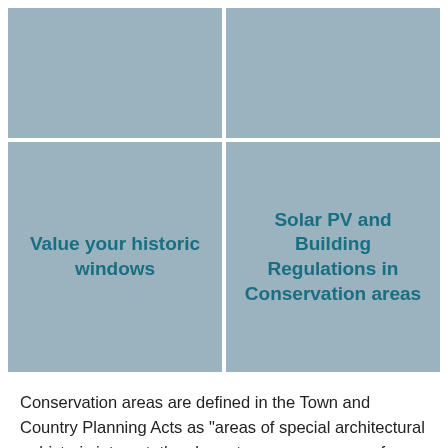[Figure (other): Top-left grid cell — blue-grey placeholder image area]
[Figure (other): Top-right grid cell — blue-grey placeholder image area]
Value your historic windows
Solar PV and Building Regulations in Conservation areas
Conservation areas are defined in the Town and Country Planning Acts as "areas of special architectural or historic interest, the character or appearance of which it is desirable to preserve or enhance". They are a unique form of conservation because they not only protect listed buildings. They